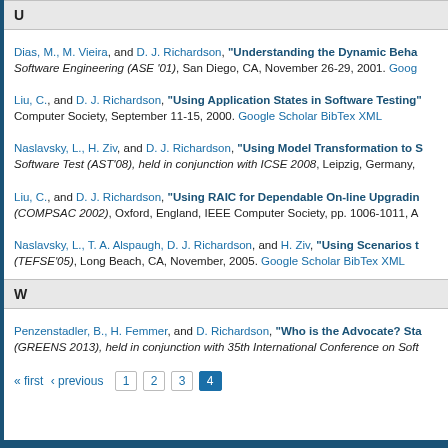U
Dias, M., M. Vieira, and D. J. Richardson, "Understanding the Dynamic Behavior of Software Engineering (ASE '01), San Diego, CA, November 26-29, 2001. Google Scholar
Liu, C., and D. J. Richardson, "Using Application States in Software Testing" Computer Society, September 11-15, 2000. Google Scholar BibTex XML
Naslavsky, L., H. Ziv, and D. J. Richardson, "Using Model Transformation to S Software Test (AST'08), held in conjunction with ICSE 2008, Leipzig, Germany,
Liu, C., and D. J. Richardson, "Using RAIC for Dependable On-line Upgradin (COMPSAC 2002), Oxford, England, IEEE Computer Society, pp. 1006-1011, A
Naslavsky, L., T. A. Alspaugh, D. J. Richardson, and H. Ziv, "Using Scenarios t (TEFSE'05), Long Beach, CA, November, 2005. Google Scholar BibTex XML
W
Penzenstadler, B., H. Femmer, and D. Richardson, "Who is the Advocate? Sta (GREENS 2013), held in conjunction with 35th International Conference on Soft
« first ‹ previous 1 2 3 4